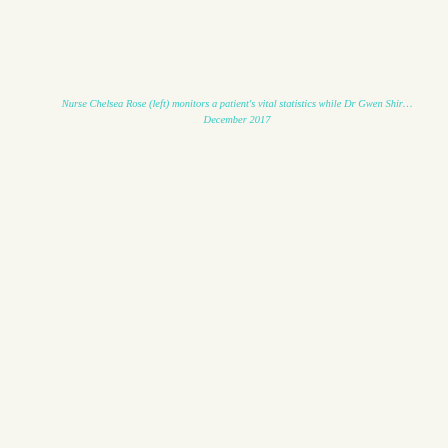Nurse Chelsea Rose (left) monitors a patient's vital statistics while Dr Gwen Shir... December 2017